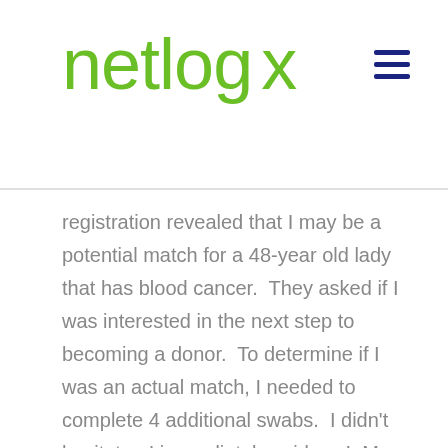netlogx
registration revealed that I may be a potential match for a 48-year old lady that has blood cancer.  They asked if I was interested in the next step to becoming a donor.  To determine if I was an actual match, I needed to complete 4 additional swabs.  I didn't hesitate.  I immediately said yes!  My dad's life was saved by a stranger... how could I say no?  I submitted my swabs last week and will hear back in 2 – 6 weeks if I am a perfect match (fingers crossed and